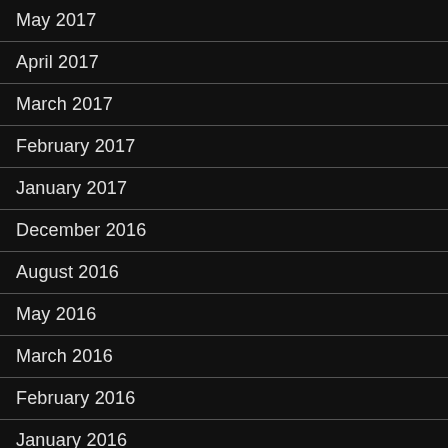May 2017
April 2017
March 2017
February 2017
January 2017
December 2016
August 2016
May 2016
March 2016
February 2016
January 2016
December 2015
November 2015